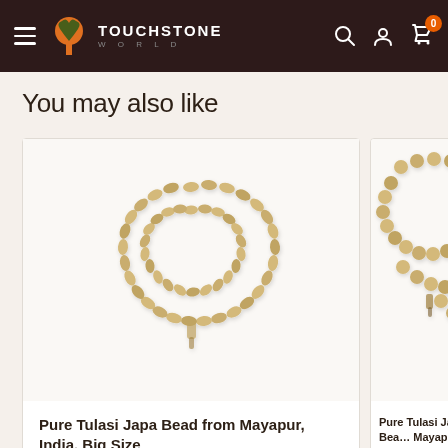Touchstone World — Navigation header with hamburger menu, logo, search, account, and cart (0 items)
You may also like
[Figure (photo): Pure Tulasi Japa bead necklace from Mayapur, India. Big Size — beige/tan oval beads strung in a long loop, photographed on white background.]
Pure Tulasi Japa Bead from Mayapur, India. Big Size
[Figure (photo): Pure Tulasi Japa bead necklace from Mayapur, India — round beads strung in a loop, photographed on white background, partially cropped.]
Pure Tulasi Japa Bead from Mayapur, India